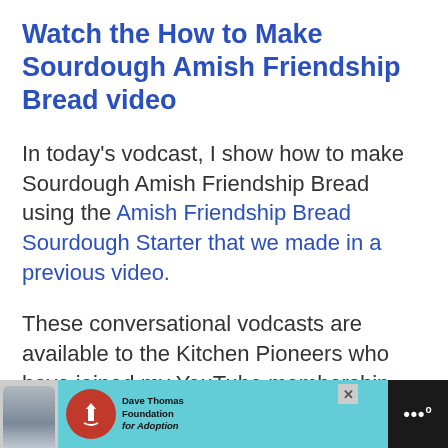Watch the How to Make Sourdough Amish Friendship Bread video
In today's vodcast, I show how to make Sourdough Amish Friendship Bread using the Amish Friendship Bread Sourdough Starter that we made in a previous video.
These conversational vodcasts are available to the Kitchen Pioneers who have joined my YouTube membership community—The Traditional Foods Kitchen Academy.
[Figure (other): Advertisement banner at the bottom of the page featuring a boy in a grey shirt, a cyan background with a Dave Thomas Foundation for Adoption logo, a close button, and a dark right panel with stylized 'W' dots icon.]